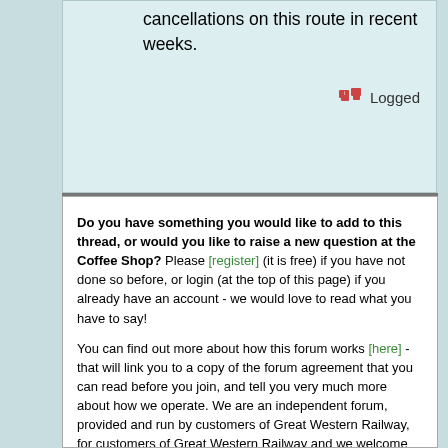cancellations on this route in recent weeks.
Logged
Do you have something you would like to add to this thread, or would you like to raise a new question at the Coffee Shop? Please [register] (it is free) if you have not done so before, or login (at the top of this page) if you already have an account - we would love to read what you have to say!
You can find out more about how this forum works [here] - that will link you to a copy of the forum agreement that you can read before you join, and tell you very much more about how we operate. We are an independent forum, provided and run by customers of Great Western Railway, for customers of Great Western Railway and we welcome railway professionals as members too, in either a personal or official capacity. Views expressed in posts are not necessarily the views of the operators of the forum.
As well as posting messages onto existing threads, and starting new subjects, members can communicate with each other through personal messages if they wish. And once members have